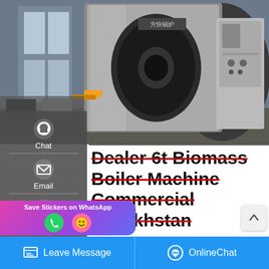[Figure (photo): Industrial biomass boiler machine in a factory/warehouse setting. A large cylindrical steel boiler with a circular front face is shown alongside a grey electrical control cabinet. The manufacturer logo is visible on the boiler.]
Dealer 6t Biomass Boiler Machine Commercial Kazakhstan
High Efficiency 6t Biomass Boiler Plant Agent Kazakhstan 30 kw home biomass boiler Agents in kazakhstan. 30 kw home biomass boiler 35t - elimu-heikendorf. Oil Gas . india price of 2 ton biomass steam
Leave Message   OnlineChat